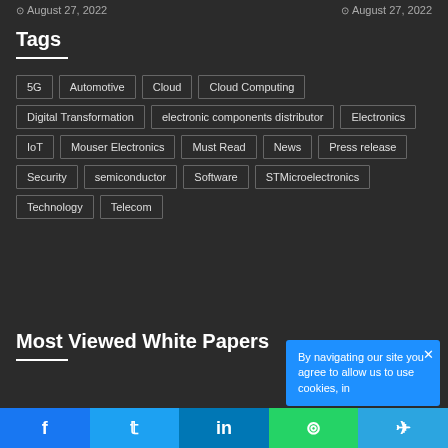August 27, 2022   August 27, 2022
Tags
5G
Automotive
Cloud
Cloud Computing
Digital Transformation
electronic components distributor
Electronics
IoT
Mouser Electronics
Must Read
News
Press release
Security
semiconductor
Software
STMicroelectronics
Technology
Telecom
Most Viewed White Papers